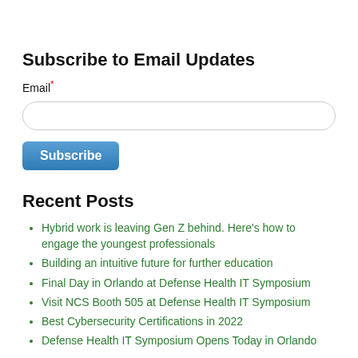Subscribe to Email Updates
Email*
Recent Posts
Hybrid work is leaving Gen Z behind. Here's how to engage the youngest professionals
Building an intuitive future for further education
Final Day in Orlando at Defense Health IT Symposium
Visit NCS Booth 505 at Defense Health IT Symposium
Best Cybersecurity Certifications in 2022
Defense Health IT Symposium Opens Today in Orlando